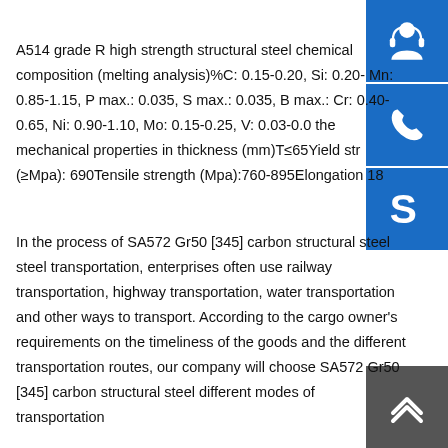A514 grade R high strength structural steel chemical composition (melting analysis)%C: 0.15-0.20, Si: 0.20- Mn: 0.85-1.15, P max.: 0.035, S max.: 0.035, B max.: Cr: 0.40-0.65, Ni: 0.90-1.10, Mo: 0.15-0.25, V: 0.03-0.0 the mechanical properties in thickness (mm)T≤65Yield str (≥Mpa): 690Tensile strength (Mpa):760-895Elongation 18
In the process of SA572 Gr50 [345] carbon structural steel steel transportation, enterprises often use railway transportation, highway transportation, water transportation and other ways to transport. According to the cargo owner's requirements on the timeliness of the goods and the different transportation routes, our company will choose SA572 Gr50 [345] carbon structural steel different modes of transportation
[Figure (other): Customer service icon (headset with person silhouette) - blue background]
[Figure (other): Phone/call icon - blue background]
[Figure (other): Skype icon (S logo) - blue background]
[Figure (other): Scroll to top button (double chevron up arrow) - gray background]